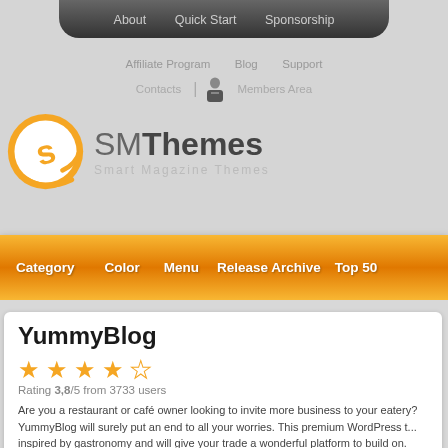About  Quick Start  Sponsorship
Affiliate Program  Blog  Support
Contacts | Members Area
[Figure (logo): SMThemes logo with orange speech bubble icon and text 'SMThemes Smart Magazine Themes']
Category  Color  Menu  Release Archive  Top 50
YummyBlog
Rating 3,8/5 from 3733 users
Are you a restaurant or café owner looking to invite more business to your eatery? YummyBlog will surely put an end to all your worries. This premium WordPress t... inspired by gastronomy and will give your trade a wonderful platform to build on.